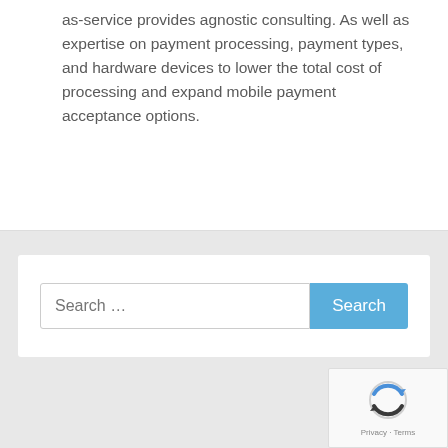as-service provides agnostic consulting. As well as expertise on payment processing, payment types, and hardware devices to lower the total cost of processing and expand mobile payment acceptance options.
[Figure (screenshot): Search bar with text input field showing placeholder 'Search ...' and a blue 'Search' button]
[Figure (logo): reCAPTCHA widget showing the recaptcha logo/icon with 'Privacy - Terms' text at the bottom]